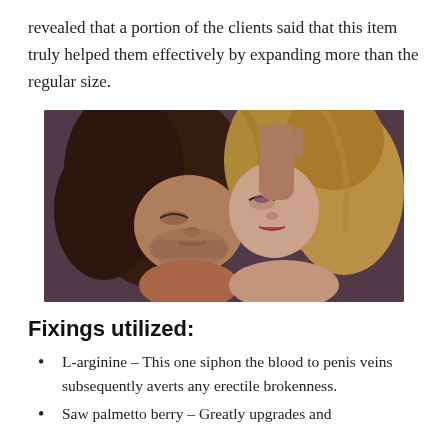revealed that a portion of the clients said that this item truly helped them effectively by expanding more than the regular size.
[Figure (photo): A couple (man and woman) in an intimate moment, appearing to kiss, with the man's hand raised near the woman's face.]
Fixings utilized:
L-arginine – This one siphon the blood to penis veins subsequently averts any erectile brokenness.
Saw palmetto berry – Greatly upgrades and